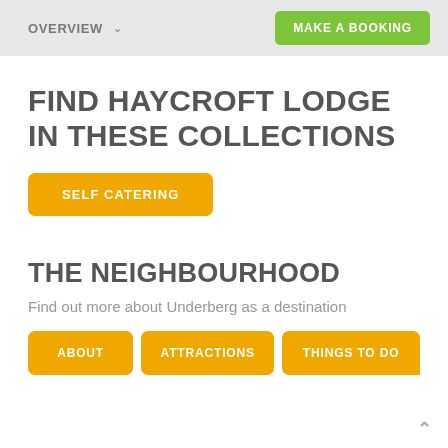OVERVIEW   MAKE A BOOKING
FIND HAYCROFT LODGE IN THESE COLLECTIONS
SELF CATERING
THE NEIGHBOURHOOD
Find out more about Underberg as a destination
ABOUT
ATTRACTIONS
THINGS TO DO